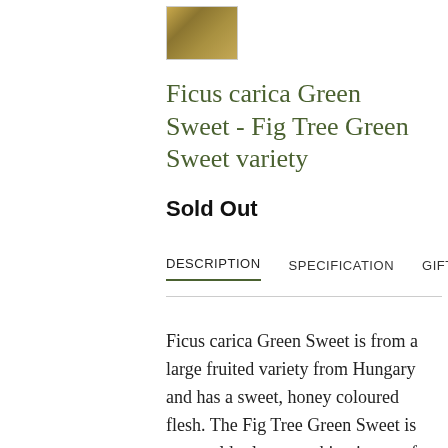[Figure (photo): Small thumbnail image of a fig tree or fruit, brownish-gold tones]
Ficus carica Green Sweet - Fig Tree Green Sweet variety
Sold Out
DESCRIPTION   SPECIFICATION   GIFT WRAP
Ficus carica Green Sweet is from a large fruited variety from Hungary and has a sweet, honey coloured flesh. The Fig Tree Green Sweet is very cold tolerant making it great for the UK climate. The fruits size can reach up to 80-100g. Self